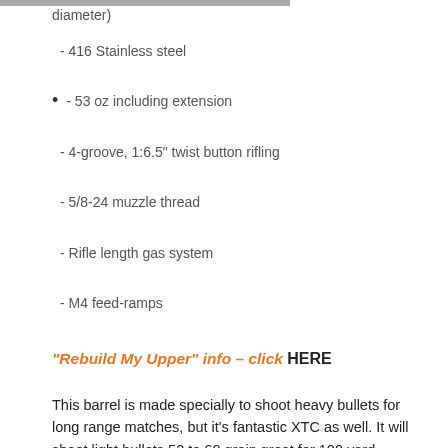diameter)
- 416 Stainless steel
- 53 oz including extension
- 4-groove, 1:6.5" twist button rifling
- 5/8-24 muzzle thread
- Rifle length gas system
- M4 feed-ramps
"Rebuild My Upper" info - click HERE
This barrel is made specially to shoot heavy bullets for long range matches, but it's fantastic XTC as well. It will shoot light bullets 52 to 60 grain great for 100 yard practice. Typical match 69 and 77 grain bullets shoot great on the shortline,